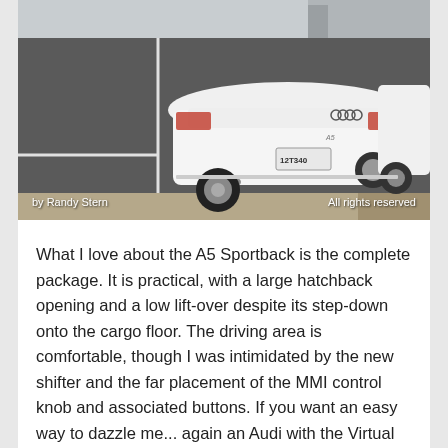[Figure (photo): Rear view of a white Audi A5 Sportback parked in a parking lot, with license plate partially visible reading 12T34D. Photo credit watermarks: 'by Randy Stern' on the left and 'All rights reserved' on the right.]
by Randy Stern    All rights reserved
What I love about the A5 Sportback is the complete package. It is practical, with a large hatchback opening and a low lift-over despite its step-down onto the cargo floor. The driving area is comfortable, though I was intimidated by the new shifter and the far placement of the MMI control knob and associated buttons. If you want an easy way to dazzle me... again an Audi with the Virtual Cockpit